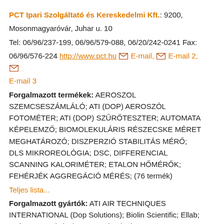PCT Ipari Szolgáltató és Kereskedelmi Kft.: 9200, Mosonmagyaróvár, Juhar u. 10
Tel: 06/96/237-199, 06/96/579-088, 06/20/242-0241 Fax: 06/96/576-224 http://www.pct.hu [email icon] E-mail, [email icon] E-mail 2, [email icon] E-mail 3
Forgalmazott termékek: AEROSZOL SZEMCSESZÁMLÁLÓ; ATI (DOP) AEROSZÓL FOTOMÉTER; ATI (DOP) SZŰRŐTESZTER; AUTOMATA KÉPELEMZŐ; BIOMOLEKULÁRIS RÉSZECSKE MÉRET MEGHATÁROZÓ; DISZPERZIÓ STABILITÁS MÉRŐ; DLS MIKROREOLÓGIA; DSC, DIFFERENCIAL SCANNING KALORIMÉTER; ETALON HŐMÉRŐK; FEHÉRJÉK AGGREGÁCIÓ MÉRÉS; (76 termék)
Teljes lista...
Forgalmazott gyártók: ATI AIR TECHNIQUES INTERNATIONAL (Dop Solutions); Biolin Scientific; Ellab; Malvern Panalytical; NDC Technologies; PAMAS; PMS Particle Measuring Systems; REDSHIFTBIO; SUEZ WATER TECHNOLOGIES (SIEVERS)